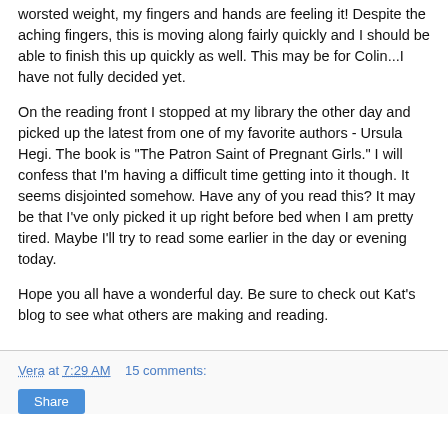worsted weight, my fingers and hands are feeling it!  Despite the aching fingers, this is moving along fairly quickly and I should be able to finish this up quickly as well.  This may be for Colin...I have not fully decided yet.
On the reading front I stopped at my library the other day and picked up the latest from one of my favorite authors - Ursula Hegi.  The book is "The Patron Saint of Pregnant Girls."  I will confess that I'm having a difficult time getting into it though.  It seems disjointed somehow.  Have any of you read this?  It may be that I've only picked it up right before bed when I am pretty tired.  Maybe I'll try to read some earlier in the day or evening today.
Hope you all have a wonderful day.  Be sure to check out Kat's blog to see what others are making and reading.
Vera at 7:29 AM    15 comments:   Share